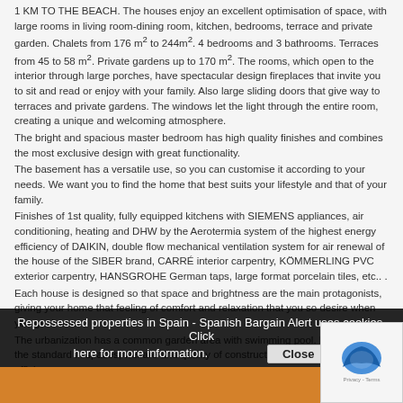1 KM TO THE BEACH. The houses enjoy an excellent optimisation of space, with large rooms in living room-dining room, kitchen, bedrooms, terrace and private garden. Chalets from 176 m² to 244m². 4 bedrooms and 3 bathrooms. Terraces from 45 to 58 m². Private gardens up to 170 m². The rooms, which open to the interior through large porches, have spectacular design fireplaces that invite you to sit and read or enjoy with your family. Also large sliding doors that give way to terraces and private gardens. The windows let the light through the entire room, creating a unique and welcoming atmosphere.
The bright and spacious master bedroom has high quality finishes and combines the most exclusive design with great functionality.
The basement has a versatile use, so you can customise it according to your needs. We want you to find the home that best suits your lifestyle and that of your family.
Finishes of 1st quality, fully equipped kitchens with SIEMENS appliances, air conditioning, heating and DHW by the Aerotermia system of the highest energy efficiency of DAIKIN, double flow mechanical ventilation system for air renewal of the house of the SIBER brand, CARRÉ interior carpentry, KÖMMERLING PVC exterior carpentry, HANSGROHE German taps, large format porcelain tiles, etc.. .
Each house is designed so that space and brightness are the main protagonists, giving your home that feeling of comfort and relaxation that you so desire when you get home.
The urbanization has a common garden area with swimming pool. Housing above the standard in spaces, welfare and quality of construction. Committed to energy efficiency.
We believe in architecture that promotes healthy, efficient and environmentally friendly housing; that's why the houses have been designed to offer a high level of energy rating.
Repossessed properties in Spain - Spanish Bargain Alert uses cookies. Click here for more information. Close